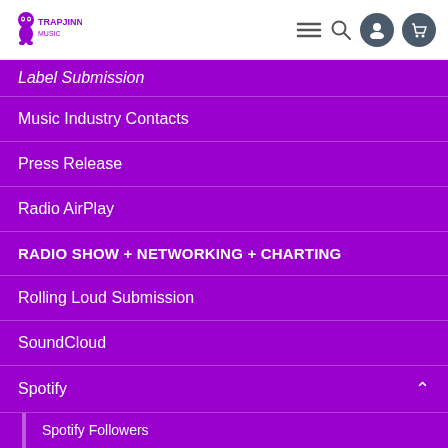Navigation header with logo and icons
Label Submission (partial, cut off at top)
Music Industry Contacts
Press Release
Radio AirPlay
RADIO SHOW + NETWORKING + CHARTING
Rolling Loud Submission
SoundCloud
Spotify
Spotify Followers
Spotify Streams
Spotify Playlist